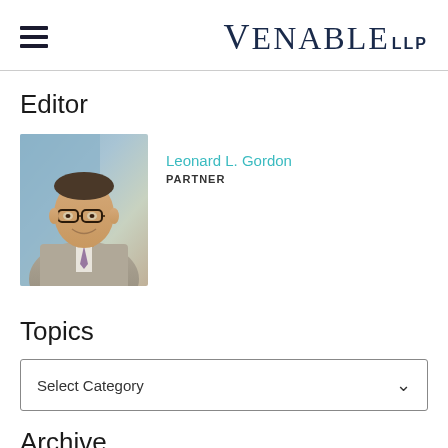Venable LLP
Editor
[Figure (photo): Professional headshot of Leonard L. Gordon, a man wearing glasses, a gray suit, and a purple tie, photographed against a light blue background.]
Leonard L. Gordon
PARTNER
Topics
Select Category
Archive